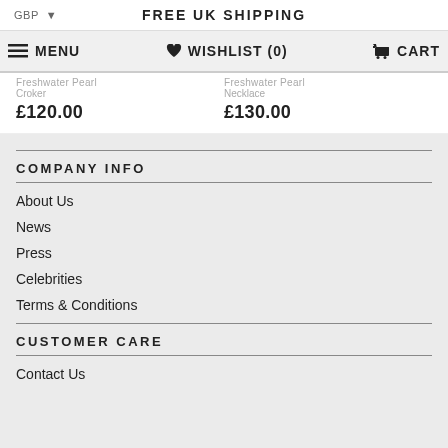FREE UK SHIPPING
GBP ▼   ≡ MENU   ♥ WISHLIST (0)   🛒 CART
Freshwater Pearl   Freshwater Pearl
Croker   Necklace
£120.00   £130.00
COMPANY INFO
About Us
News
Press
Celebrities
Terms & Conditions
CUSTOMER CARE
Contact Us